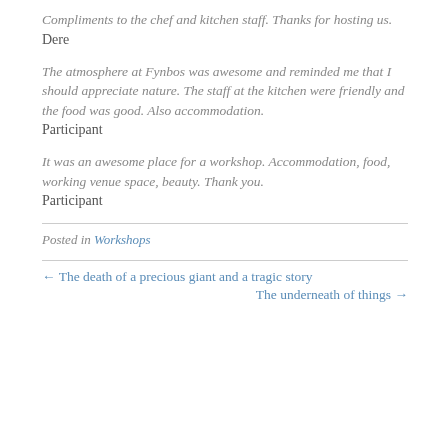Compliments to the chef and kitchen staff. Thanks for hosting us.
Dere
The atmosphere at Fynbos was awesome and reminded me that I should appreciate nature. The staff at the kitchen were friendly and the food was good. Also accommodation.
Participant
It was an awesome place for a workshop. Accommodation, food, working venue space, beauty. Thank you.
Participant
Posted in Workshops
← The death of a precious giant and a tragic story
The underneath of things →